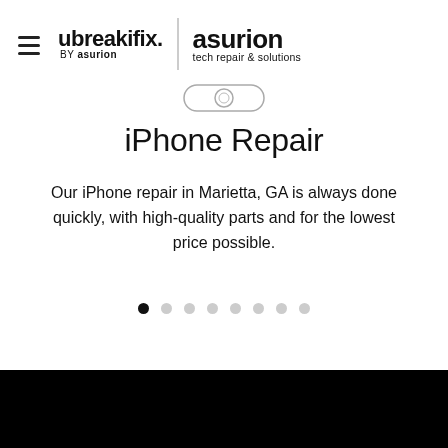[Figure (logo): ubreakifix by asurion | asurion tech repair & solutions logo with hamburger menu icon on the left]
[Figure (illustration): Small iPhone home button icon]
iPhone Repair
Our iPhone repair in Marietta, GA is always done quickly, with high-quality parts and for the lowest price possible.
[Figure (other): Carousel navigation dots, 8 dots total with first dot filled/active]